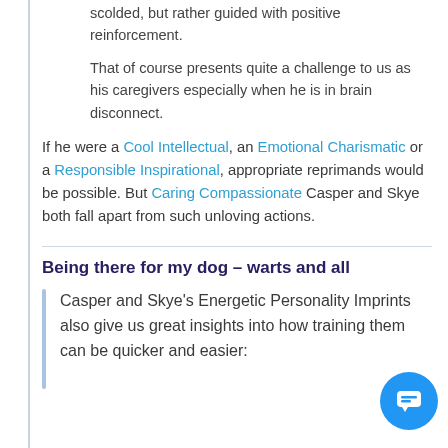scolded, but rather guided with positive reinforcement.
That of course presents quite a challenge to us as his caregivers especially when he is in brain disconnect.
If he were a Cool Intellectual, an Emotional Charismatic or a Responsible Inspirational, appropriate reprimands would be possible. But Caring Compassionate Casper and Skye both fall apart from such unloving actions.
Being there for my dog – warts and all
Casper and Skye's Energetic Personality Imprints also give us great insights into how training them can be quicker and easier: